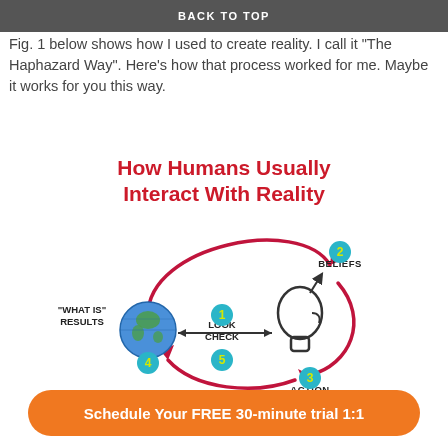BACK TO TOP
Fig. 1 below shows how I used to create reality. I call it "The Haphazard Way". Here's how that process worked for me. Maybe it works for you this way.
[Figure (infographic): Circular diagram titled 'How Humans Usually Interact With Reality' showing a cycle with numbered steps: 1-LOOK CHECK (center, between globe and head silhouette), 2-BELIEFS (top right with arrow), 3-ACTION (bottom center with arrow), 4-'WHAT IS' RESULTS (left, near globe), 5-another node at center bottom. Steps connected by curved red/maroon arrows forming a loop.]
Schedule Your FREE 30-minute trial 1:1